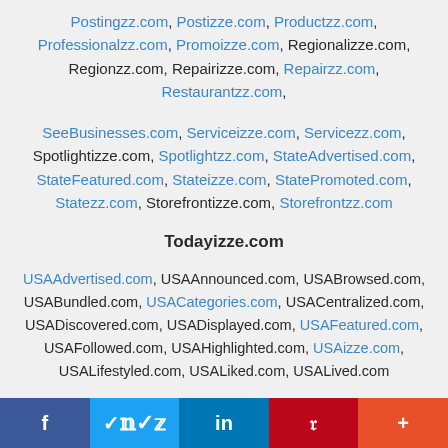Postingzz.com, Postizze.com, Productzz.com, Professionalzz.com, Promoizze.com, Regionalizze.com, Regionzz.com, Repairizze.com, Repairzz.com, Restaurantzz.com,
SeeBusinesses.com, Serviceizze.com, Servicezz.com, Spotlightizze.com, Spotlightzz.com, StateAdvertised.com, StateFeatured.com, Stateizze.com, StatePromoted.com, Statezz.com, Storefrontizze.com, Storefrontzz.com
Todayizze.com
USAAdvertised.com, USAAnnounced.com, USABrowsed.com, USABundled.com, USACategories.com, USACentralized.com, USADiscovered.com, USADisplayed.com, USAFeatured.com, USAFollowed.com, USAHighlighted.com, USAizze.com, USALifestyled.com, USALiked.com, USALived.com
f  Twitter  in  Pinterest  +